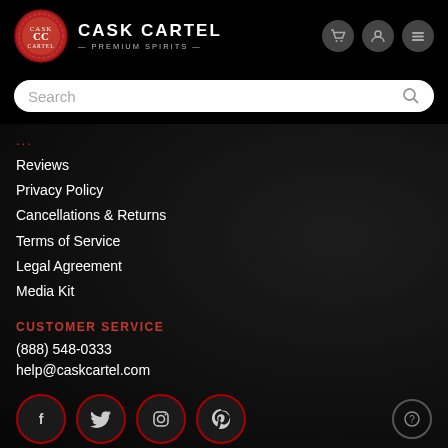CASK CARTEL — PREMIUM SPIRITS
Search
...
Reviews
Privacy Policy
Cancellations & Returns
Terms of Service
Legal Agreement
Media Kit
CUSTOMER SERVICE
(888) 548-0333
help@caskcartel.com
[Figure (logo): Social media icons: Facebook, Twitter, Instagram, Pinterest]